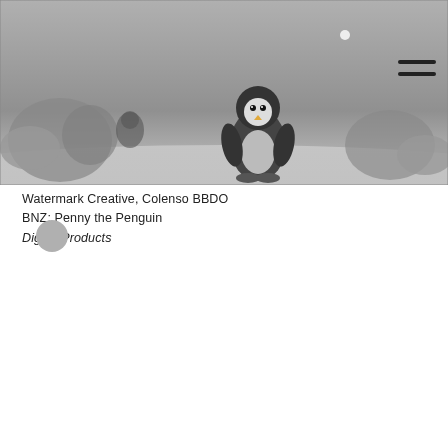[Figure (photo): Grayscale screenshot showing a 3D animated penguin character (Penny the Penguin) standing in a wintry scene with icy rock formations in the background. A hamburger menu icon (three horizontal lines) is visible in the top-right corner of the image.]
Watermark Creative, Colenso BBDO
BNZ: Penny the Penguin
Digital Products
[Figure (other): Small gray circle, likely a UI pagination dot or decorative element.]